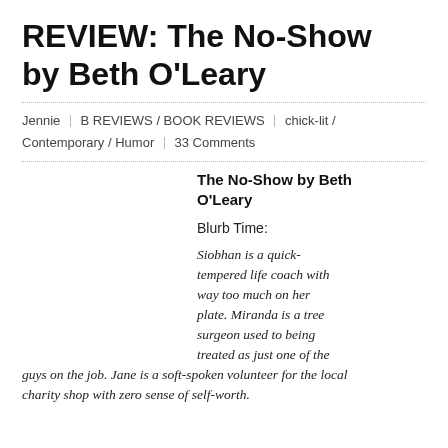REVIEW: The No-Show by Beth O'Leary
Jennie | B REVIEWS / BOOK REVIEWS | chick-lit / Contemporary / Humor | 33 Comments
The No-Show by Beth O'Leary
Blurb Time:
Siobhan is a quick-tempered life coach with way too much on her plate. Miranda is a tree surgeon used to being treated as just one of the guys on the job. Jane is a soft-spoken volunteer for the local charity shop with zero sense of self-worth.